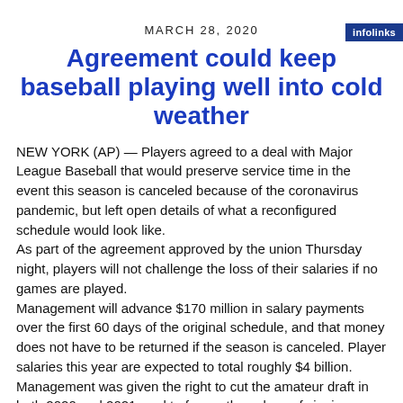infolinks
MARCH 28, 2020
Agreement could keep baseball playing well into cold weather
NEW YORK (AP) — Players agreed to a deal with Major League Baseball that would preserve service time in the event this season is canceled because of the coronavirus pandemic, but left open details of what a reconfigured schedule would look like.
As part of the agreement approved by the union Thursday night, players will not challenge the loss of their salaries if no games are played.
Management will advance $170 million in salary payments over the first 60 days of the original schedule, and that money does not have to be returned if the season is canceled. Player salaries this year are expected to total roughly $4 billion.
Management was given the right to cut the amateur draft in both 2020 and 2021, and to freeze the values of signing bonus money at 2019 levels.
Details were divulged to The Associated Press by people